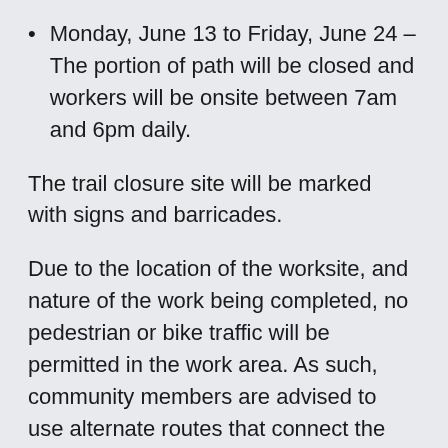Monday, June 13 to Friday, June 24 – The portion of path will be closed and workers will be onsite between 7am and 6pm daily.
The trail closure site will be marked with signs and barricades.
Due to the location of the worksite, and nature of the work being completed, no pedestrian or bike traffic will be permitted in the work area. As such, community members are advised to use alternate routes that connect the valley and hilltop areas, such as the Dahl Drive Trail. For further information on the trail system, please refer to